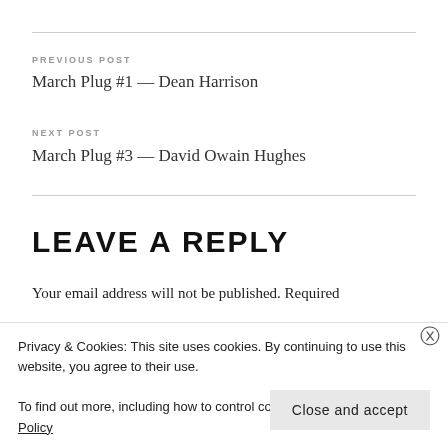PREVIOUS POST
March Plug #1 — Dean Harrison
NEXT POST
March Plug #3 — David Owain Hughes
LEAVE A REPLY
Your email address will not be published. Required
Privacy & Cookies: This site uses cookies. By continuing to use this website, you agree to their use.
To find out more, including how to control cookies, see here: Cookie Policy
Close and accept